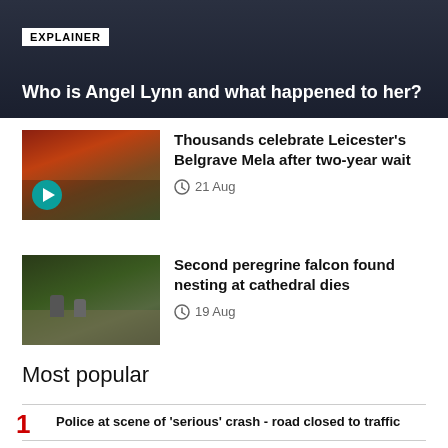[Figure (photo): Dark background hero image with text overlay]
EXPLAINER
Who is Angel Lynn and what happened to her?
[Figure (photo): Colorful festival performer at Belgrave Mela with play button overlay]
Thousands celebrate Leicester's Belgrave Mela after two-year wait
21 Aug
[Figure (photo): Two peregrine falcons perched on stone wall at a cathedral]
Second peregrine falcon found nesting at cathedral dies
19 Aug
Most popular
Police at scene of 'serious' crash - road closed to traffic
Man charged with the murder of a 9 year old girl is